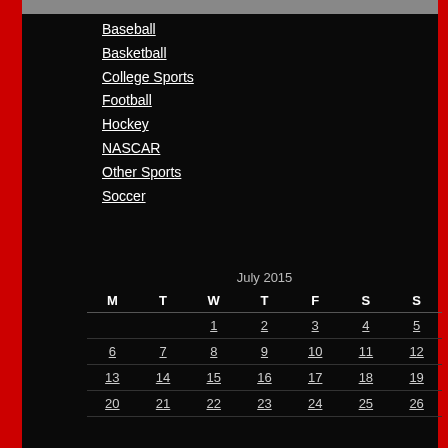Baseball
Basketball
College Sports
Football
Hockey
NASCAR
Other Sports
Soccer
| M | T | W | T | F | S | S |
| --- | --- | --- | --- | --- | --- | --- |
|  |  | 1 | 2 | 3 | 4 | 5 |
| 6 | 7 | 8 | 9 | 10 | 11 | 12 |
| 13 | 14 | 15 | 16 | 17 | 18 | 19 |
| 20 | 21 | 22 | 23 | 24 | 25 | 26 |